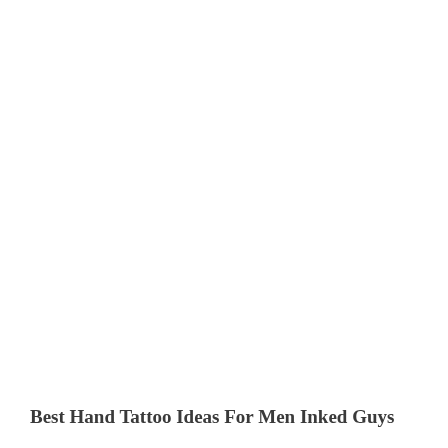Best Hand Tattoo Ideas For Men Inked Guys